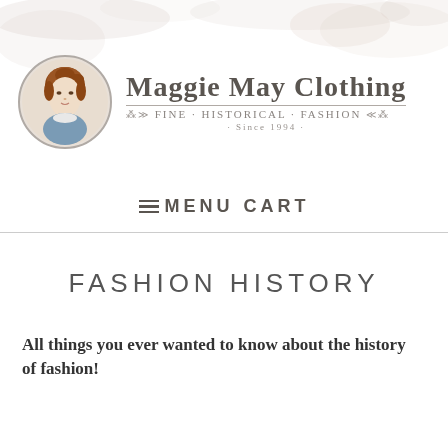[Figure (logo): Maggie May Clothing logo: circular portrait of a Victorian woman with auburn hair wearing a blue dress, next to decorative brand name text reading 'MAGGIE MAY CLOTHING - FINE - HISTORICAL - FASHION - SINCE 1994 -']
≡ MENU   CART
FASHION HISTORY
All things you ever wanted to know about the history of fashion!